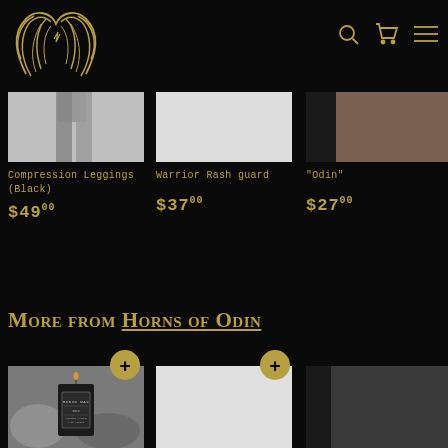[Figure (logo): Horns of Odin logo: gold line-art of intertwined horns on black background]
[Figure (illustration): Navigation icons: search magnifier, shopping cart, hamburger menu in gold on black]
[Figure (photo): Compression Leggings (Black) product image - gray/white background]
Compression Leggings (Black)
$4900
[Figure (photo): Warrior Rash guard product image - white background]
Warrior Rash guard
$3700
"Odin"
$2700
More from Horns of Odin
[Figure (photo): Runic Wax candle product image in grayscale]
[Figure (photo): Second product - white/light background]
[Figure (photo): Third product - dark background, partially visible]